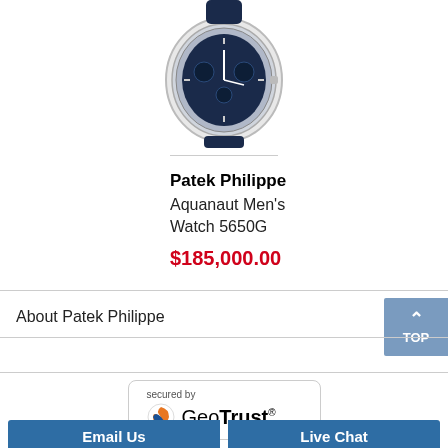[Figure (photo): Patek Philippe Aquanaut Men's Watch 5650G with blue dial and rubber strap, partially cropped at top of page]
Patek Philippe
Aquanaut Men's Watch 5650G
$185,000.00
About Patek Philippe
Patek Philippe List
[Figure (logo): GeoTrust SSL security badge: 'secured by GeoTrust']
Email Us
Live Chat